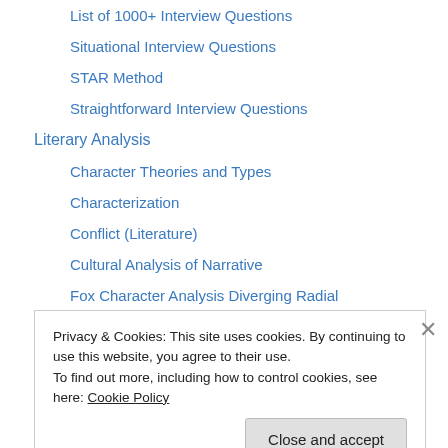List of 1000+ Interview Questions
Situational Interview Questions
STAR Method
Straightforward Interview Questions
Literary Analysis
Character Theories and Types
Characterization
Conflict (Literature)
Cultural Analysis of Narrative
Fox Character Analysis Diverging Radial
Fox Character Analysis Pyramid
Genre
List of Settings
Privacy & Cookies: This site uses cookies. By continuing to use this website, you agree to their use. To find out more, including how to control cookies, see here: Cookie Policy
Close and accept